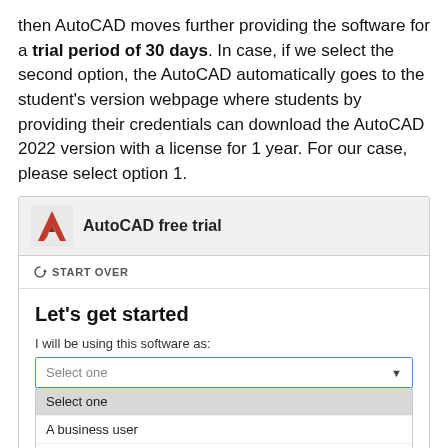then AutoCAD moves further providing the software for a trial period of 30 days. In case, if we select the second option, the AutoCAD automatically goes to the student's version webpage where students by providing their credentials can download the AutoCAD 2022 version with a license for 1 year. For our case, please select option 1.
[Figure (screenshot): Screenshot of AutoCAD free trial webpage showing the AutoCAD logo and header, a 'Start Over' link, a 'Let's get started' heading, a dropdown labeled 'I will be using this software as:' with options: Select one, A business user, A student or teacher.]